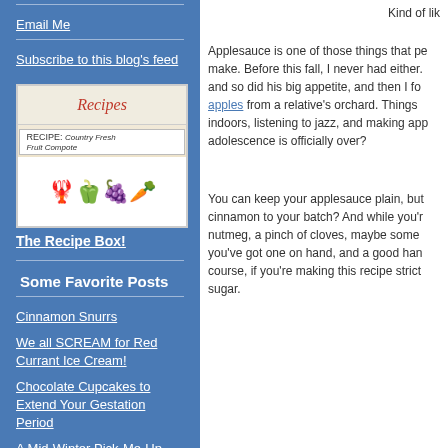Email Me
Subscribe to this blog's feed
[Figure (photo): A recipe box with illustrated seafood and vegetables on the side, showing a card labeled 'Recipes' on top and a recipe card visible.]
The Recipe Box!
Some Favorite Posts
Cinnamon Snurrs
We all SCREAM for Red Currant Ice Cream!
Chocolate Cupcakes to Extend Your Gestation Period
A Mid-Winter Pick-Me-Up
The 7 Cookies of Christmas
Rosinboller
Kind of lik
Applesauce is one of those things that pe make. Before this fall, I never had either. and so did his big appetite, and then I fo apples from a relative's orchard. Things indoors, listening to jazz, and making app adolescence is officially over?
You can keep your applesauce plain, but cinnamon to your batch? And while you'r nutmeg, a pinch of cloves, maybe some you've got one on hand, and a good han course, if you're making this recipe strict sugar.